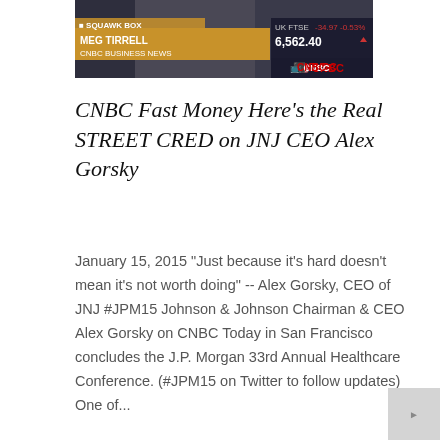[Figure (screenshot): CNBC Squawk Box screenshot showing Meg Tirrell CNBC Business News lower third, UK FTSE ticker showing -34.97, -0.53%, 6,562.40 with CNBC logo]
CNBC Fast Money Here's the Real STREET CRED on JNJ CEO Alex Gorsky
January 15, 2015 "Just because it's hard doesn't mean it's not worth doing" -- Alex Gorsky, CEO of JNJ #JPM15 Johnson & Johnson Chairman & CEO Alex Gorsky on CNBC Today in San Francisco concludes the J.P. Morgan 33rd Annual Healthcare Conference. (#JPM15 on Twitter to follow updates) One of...